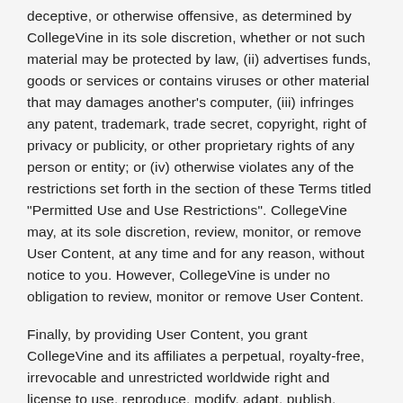deceptive, or otherwise offensive, as determined by CollegeVine in its sole discretion, whether or not such material may be protected by law, (ii) advertises funds, goods or services or contains viruses or other material that may damages another's computer, (iii) infringes any patent, trademark, trade secret, copyright, right of privacy or publicity, or other proprietary rights of any person or entity; or (iv) otherwise violates any of the restrictions set forth in the section of these Terms titled "Permitted Use and Use Restrictions". CollegeVine may, at its sole discretion, review, monitor, or remove User Content, at any time and for any reason, without notice to you. However, CollegeVine is under no obligation to review, monitor or remove User Content.
Finally, by providing User Content, you grant CollegeVine and its affiliates a perpetual, royalty-free, irrevocable and unrestricted worldwide right and license to use, reproduce, modify, adapt, publish, record, translate, create derivative works from and distribute the User Content or incorporate the User Content into any form, medium, or technology now known or later developed, for any purposes.